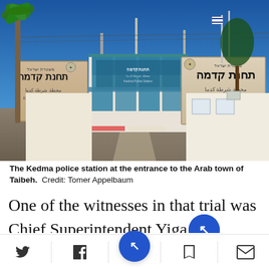[Figure (photo): The Kedma police station at the entrance to the Arab town of Taibeh. Signs in Hebrew, Arabic and English reading 'Kedma Police Station'. Blue gate visible in center, palm tree on left, Israeli flags on right, clear blue sky.]
The Kedma police station at the entrance to the Arab town of Taibeh.  Credit: Tomer Appelbaum
One of the witnesses in that trial was Chief Superintendent Yiga[l], today the head of